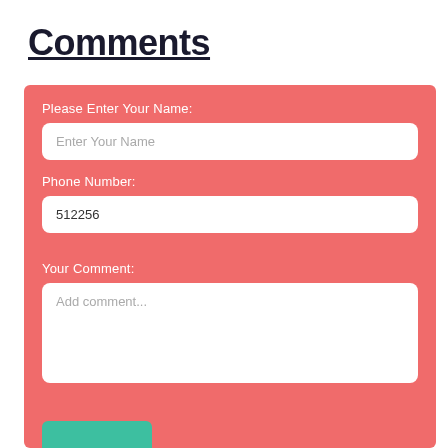Comments
Please Enter Your Name:
Enter Your Name
Phone Number:
512256
Your Comment:
Add comment...